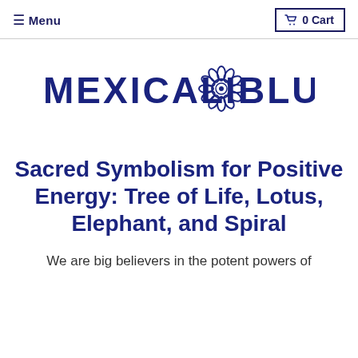≡ Menu   🛒 0 Cart
[Figure (logo): Mexicali Blues logo with flower/sunburst mandala icon between the words MEXICALI and BLUES, in dark navy blue.]
Sacred Symbolism for Positive Energy: Tree of Life, Lotus, Elephant, and Spiral
We are big believers in the potent powers of